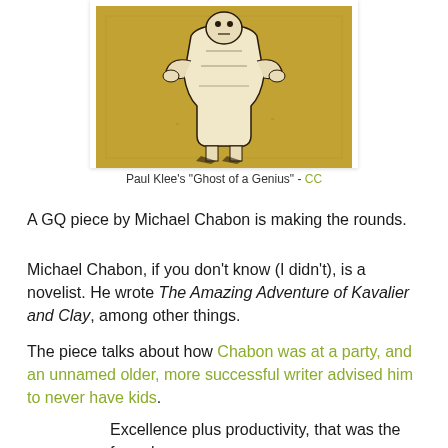[Figure (illustration): Paul Klee's 'Ghost of a Genius' painting showing a stylized figure on a golden-brown background]
Paul Klee's "Ghost of a Genius" - CC
A GQ piece by Michael Chabon is making the rounds.
Michael Chabon, if you don't know (I didn't), is a novelist. He wrote The Amazing Adventure of Kavalier and Clay, among other things.
The piece talks about how Chabon was at a party, and an unnamed older, more successful writer advised him to never have kids.
Excellence plus productivity, that was the formula